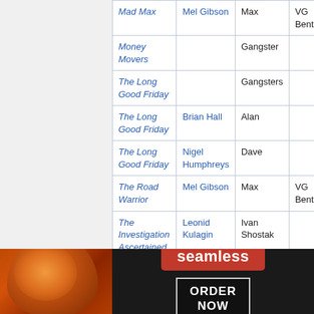| Film | Actor | Role |  |
| --- | --- | --- | --- |
| Mad Max | Mel Gibson | Max | VG Bent... |
| Money Movers |  | Gangster |  |
| The Long Good Friday |  | Gangsters |  |
| The Long Good Friday | Brian Hall | Alan |  |
| The Long Good Friday | Nigel Humphreys | Dave |  |
| The Road Warrior | Mel Gibson | Max | VG Bent... |
| The Investigation Ascertained (Sledstviyom... | Leonid Kulagin | Ivan Shostak |  |
[Figure (infographic): Seamless food delivery advertisement banner with pizza image on left, Seamless logo in red, and ORDER NOW button on dark background]